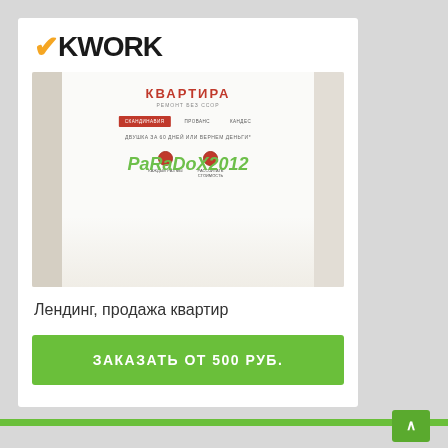[Figure (screenshot): Kwork logo at the top of a product listing card, showing the Kwork wordmark with orange K-tick accent]
[Figure (screenshot): Screenshot of a landing page for apartment sales (КВАРТИРА - РЕМОНТ БЕЗ ССОР) with navigation tabs (СКАНДИНАВИЯ, ПРОВАНС, КАНДЕС), tagline (ДВУШКА ЗА 60 ДНЕЙ ИЛИ ВЕРНЕМ ДЕНЬГИ*), and PaRaDoX2012 watermark overlay]
Лендинг, продажа квартир
ЗАКАЗАТЬ ОТ 500 РУБ.